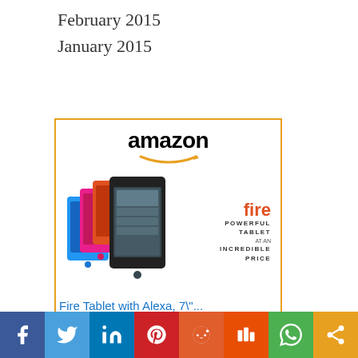February 2015
January 2015
[Figure (illustration): Amazon advertisement for Fire Tablet with Alexa, 7". Shows Amazon logo at top, colorful tablets image, fire branding, price $29.99 with Prime badge, and Shop now button.]
Social sharing bar: Facebook, Twitter, LinkedIn, Pinterest, Reddit, Mix, WhatsApp, Share